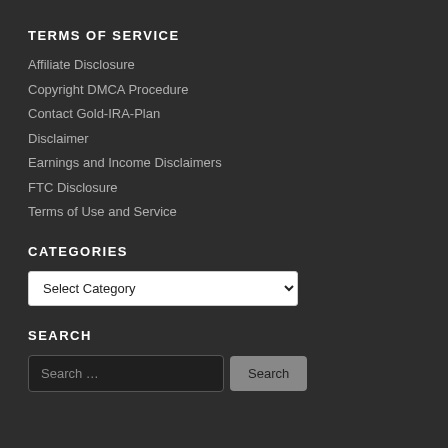TERMS OF SERVICE
Affiliate Disclosure
Copyright DMCA Procedure
Contact Gold-IRA-Plan
Disclaimer
Earnings and Income Disclaimers
FTC Disclosure
Terms of Use and Service
CATEGORIES
Select Category
SEARCH
Search ...